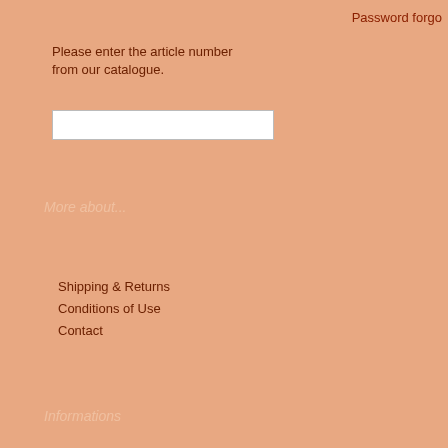Password forgo
Please enter the article number from our catalogue.
More about...
Shipping & Returns
Conditions of Use
Contact
Informations
Sitemap
FAQ
Best seller
01. tuning pin from 0,36 EUR incl. 19 % Tax excl.Shipping costs
02. pins for zither from 0,13 EUR incl. 19 % Tax excl.Shipping costs
03. 160-120 from 4,80 EUR